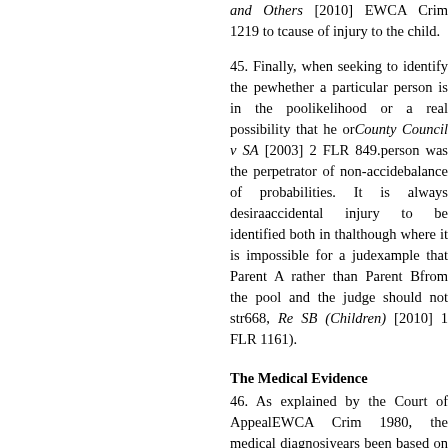and Others [2010] EWCA Crim 1219 to the cause of injury to the child.
45. Finally, when seeking to identify the perpetrator, whether a particular person is in the pool requires likelihood or a real possibility that he or she (Lancashire County Council v SA [2003] 2 FLR 849.) caused or inflicted injury. A person was the perpetrator of non-accidental injuries on the balance of probabilities. It is always desirable for the perpetrator of accidental injury to be identified both in the pool and individually, although where it is impossible for a judge to say, for example that Parent A rather than Parent B, both remain from the pool and the judge should not strain to do so (Re D 668, Re SB (Children) [2010] 1 FLR 1161).
The Medical Evidence
46. As explained by the Court of Appeal in [2010] EWCA Crim 1980, the medical diagnosis has for many years been based on what is called the triad: encephalopathy, (defined as the disease of the brain), subdural haemorrhage and retinal haemorrhage. These injuries in infants was considered to be the triad. But as was made clear by the Court of Appeal in that case the triad is a strong pointer to, rather than diagnostic. In each case the court must carry out a thorough investigation. Some will have suffered other injuries that are of significance, for example bone fractures. In other cases some may not have. But having examined all the evidence the child had suffered a non-accidental head injury.